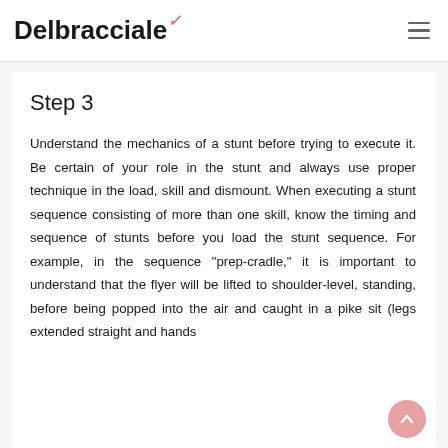Delbracciale
Step 3
Understand the mechanics of a stunt before trying to execute it. Be certain of your role in the stunt and always use proper technique in the load, skill and dismount. When executing a stunt sequence consisting of more than one skill, know the timing and sequence of stunts before you load the stunt sequence. For example, in the sequence "prep-cradle," it is important to understand that the flyer will be lifted to shoulder-level, standing, before being popped into the air and caught in a pike sit (legs extended straight and hands